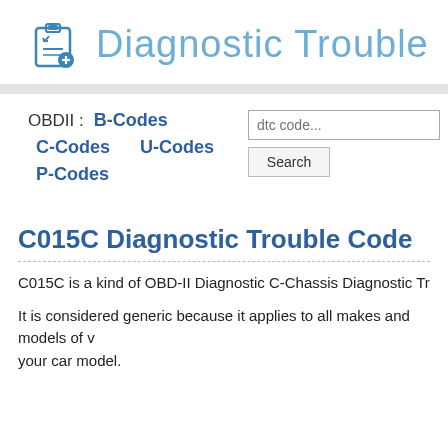Diagnostic Trouble
OBDII : B-Codes C-Codes U-Codes P-Codes
C015C Diagnostic Trouble Code
C015C is a kind of OBD-II Diagnostic C-Chassis Diagnostic Tr
It is considered generic because it applies to all makes and models of v your car model.